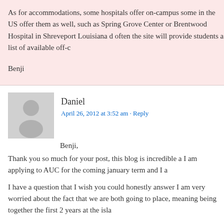As for accommodations, some hospitals offer on-campus some in the US offer them as well, such as Spring Grove Center or Brentwood Hospital in Shreveport Louisiana d often the site will provide students a list of available off-c
Benji
Daniel
April 26, 2012 at 3:52 am · Reply
Benji,
Thank you so much for your post, this blog is incredible a I am applying to AUC for the coming january term and I a
I have a question that I wish you could honestly answer I am very worried about the fact that we are both going to place, meaning being together the first 2 years at the isla
Do you think it is possible or it could be a real challenge